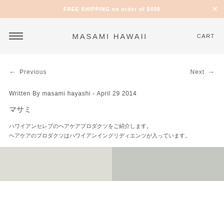FREE SHIPPING on order of $400
MASAMI HAWAII
← Previous   Next →
Written By masami hayashi - April 29 2014
マサミ
ハワイアンセレブのヘアケアプロダクツをご紹介します。
ヘアケアのプロダクツはハワイアンイングリディエンツが入っています。
[Figure (photo): Bottom portion of a product or lifestyle photo, showing a light-colored background with partial objects visible.]